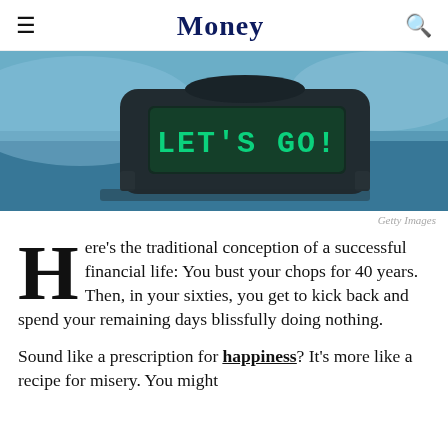Money
[Figure (photo): A digital alarm clock displaying 'LET'S GO!' in green LED digits on a dark surface, with a blue-toned lighting effect.]
Getty Images
Here's the traditional conception of a successful financial life: You bust your chops for 40 years. Then, in your sixties, you get to kick back and spend your remaining days blissfully doing nothing.
Sound like a prescription for happiness? It's more like a recipe for misery. You might